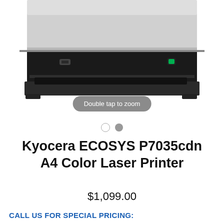[Figure (photo): Close-up photo of a Kyocera ECOSYS P7035cdn printer, showing the front lower portion with paper tray and control panel area. The printer body is silver/gray on top and black on the lower section.]
Double tap to zoom
Kyocera ECOSYS P7035cdn A4 Color Laser Printer
$1,099.00
CALL US FOR SPECIAL PRICING: